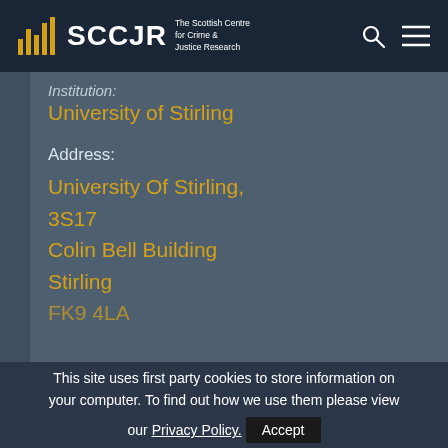SCCJR - The Scottish Centre for Crime & Justice Research
Institution:
University of Stirling
Address:
University Of Stirling, 3S17 Colin Bell Building Stirling FK9 4LA
This site uses first party cookies to store information on your computer. To find out how we use them please view our Privacy Policy.